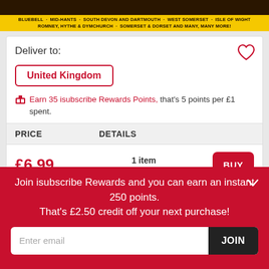[Figure (photo): Top banner with dark brown background and yellow strip showing railway/heritage text including: BLUEBELL, MID-HANTS, SOUTH DEVON AND DARTMOUTH, WEST SOMERSET, ISLE OF WIGHT, ROMNEY HYTHE & DYMCHURCH, SOMERSET & DORSET AND MANY, MANY MORE!]
Deliver to:
United Kingdom
Earn 35 isubscribe Rewards Points, that's 5 points per £1 spent.
| PRICE | DETAILS |
| --- | --- |
| £6.99 | 1 item
Credit/Debit Card, PayPal, Gift Card |
Join isubscribe Rewards and you can earn an instant 250 points. That's £2.50 credit off your next purchase!
Enter email
JOIN